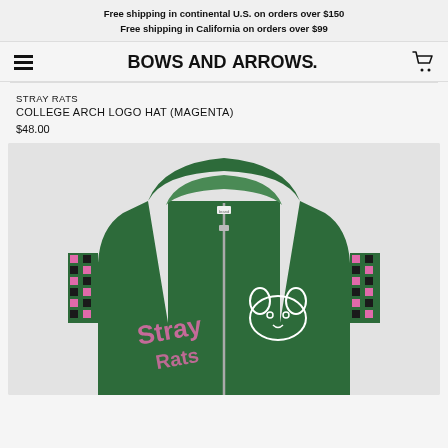Free shipping in continental U.S. on orders over $150
Free shipping in California on orders over $99
[Figure (logo): Bows and Arrows store logo and navigation bar with hamburger menu and cart icon]
STRAY RATS
COLLEGE ARCH LOGO HAT (MAGENTA)
$48.00
[Figure (photo): Green zip-up hoodie with pink and white graphic print featuring a rat/animal motif and checkered sleeve details on a light gray background]